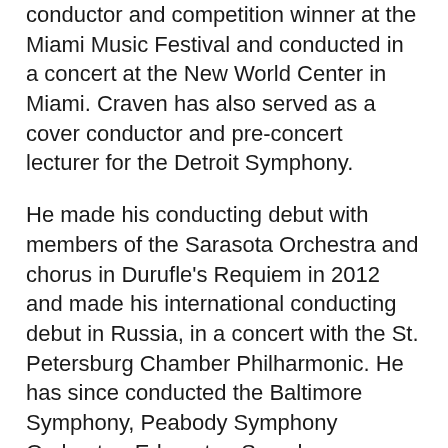conductor and competition winner at the Miami Music Festival and conducted in a concert at the New World Center in Miami. Craven has also served as a cover conductor and pre-concert lecturer for the Detroit Symphony.
He made his conducting debut with members of the Sarasota Orchestra and chorus in Durufle's Requiem in 2012 and made his international conducting debut in Russia, in a concert with the St. Petersburg Chamber Philharmonic. He has since conducted the Baltimore Symphony, Peabody Symphony Orchestra, Edmonton Symphony, Loudoun Symphony (VA), as well as orchestras in Poland, Bulgaria and the Ukraine.
Craven completed a Graduate Performers Diploma from the Peabody Conservatory in 2018 and holds a Bachelor of Music from the University of Michigan, Master of Music from Indiana University, and a Master of Music in Orchestral